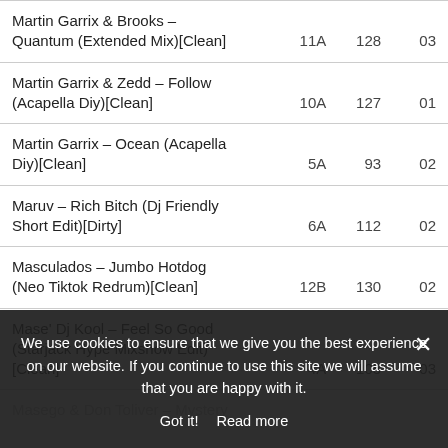| Track | Key | BPM | Min |
| --- | --- | --- | --- |
| Martin Garrix & Brooks – Quantum (Extended Mix)[Clean] | 11A | 128 | 03 |
| Martin Garrix & Zedd – Follow (Acapella Diy)[Clean] | 10A | 127 | 01 |
| Martin Garrix – Ocean (Acapella Diy)[Clean] | 5A | 93 | 02 |
| Maruv – Rich Bitch (Dj Friendly Short Edit)[Dirty] | 6A | 112 | 02 |
| Masculados – Jumbo Hotdog (Neo Tiktok Redrum)[Clean] | 12B | 130 | 02 |
| Mase' Dj Kool – Feel So Good (Starjack Hype Mixshow Edit)[Clean] | 4A | 105 | 03 |
| Masego & Don Toliver – Mystery Lady (…) |  |  |  |
| Maduev & Patrik – A… The Ocean We Like Th… Way (Kate Haydon Mashup) |  |  |  |
We use cookies to ensure that we give you the best experience on our website. If you continue to use this site we will assume that you are happy with it.